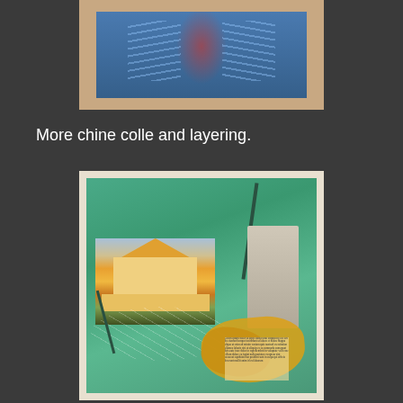[Figure (illustration): Partial view of a framed artwork showing a blue X-ray or anatomical illustration of a human torso with visible rib cage structure, mounted on a tan/beige mat board]
More chine colle and layering.
[Figure (illustration): A framed mixed-media artwork using chine colle and layering techniques. Features a green background with a photograph of a yellow house collaged in the upper left, a grayscale image of a standing male figure on the right, dark linear brushstroke elements, golden/yellow guitar-like shapes in the lower right, white etched line patterns, and a column of text in the lower right area.]